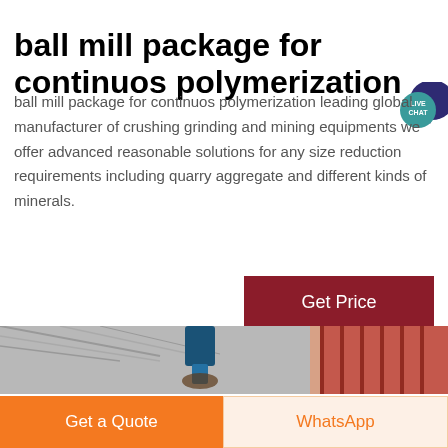ball mill package for continuos polymerization
ball mill package for continuos polymerization leading global manufacturer of crushing grinding and mining equipments we offer advanced reasonable solutions for any size reduction requirements including quarry aggregate and different kinds of minerals.
[Figure (other): Live Chat speech bubble badge with teal circle labeled LIVE CHAT and dark blue speech bubble icon]
[Figure (photo): Interior of industrial facility showing steel roof trusses, a large blue motor/mixer unit suspended from the ceiling, and a red corrugated wall panel visible on the right side]
Get Price
Get a Quote
WhatsApp